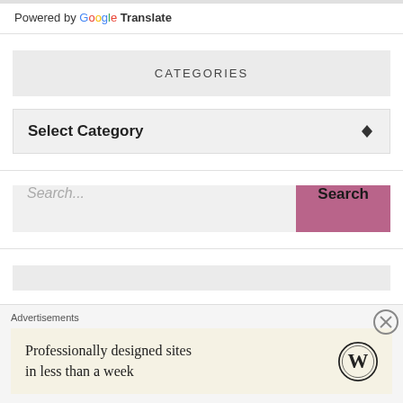Powered by Google Translate
CATEGORIES
Select Category
Search...
Advertisements
Professionally designed sites in less than a week